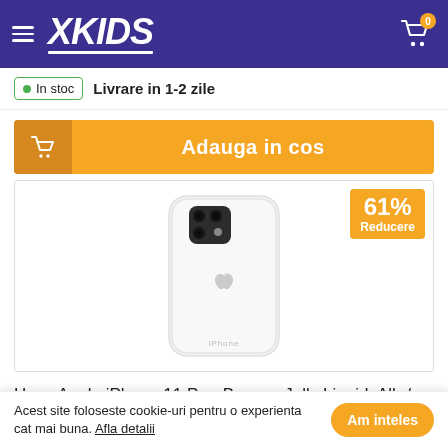XKIDS
In stoc  Livrare in 1-2 zile
Adauga in cos
[Figure (photo): iPhone 11 Pro in a white Baseus Jelly Liquid case showing the back of the phone with Apple logo and triple camera system. Orange badge in top right shows 61% Reducere.]
Husa Apple iPhone 11 Pro, Baseus Jelly Liquid, Alb /
Acest site foloseste cookie-uri pentru o experienta cat mai buna. Afla detalii